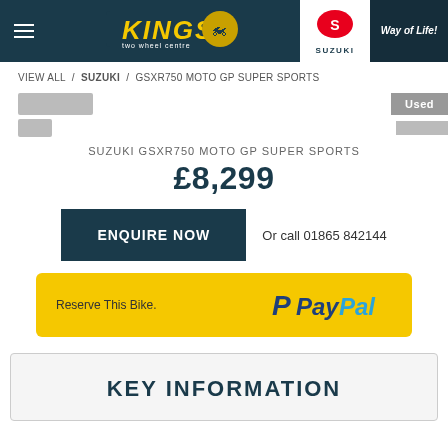[Figure (logo): Kings Two Wheel Centre logo with yellow text and motorcycle graphic]
[Figure (logo): Suzuki logo — red S badge with SUZUKI text]
Way of Life!
VIEW ALL / SUZUKI / GSXR750 MOTO GP SUPER SPORTS
Used
SUZUKI GSXR750 MOTO GP SUPER SPORTS
£8,299
ENQUIRE NOW
Or call 01865 842144
Reserve This Bike.
[Figure (logo): PayPal logo — blue P icon with PayPal text in blue]
KEY INFORMATION